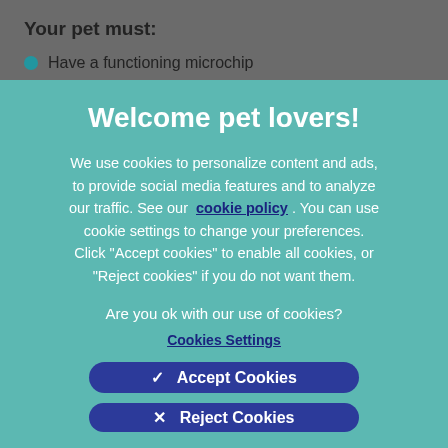Your pet must:
Have a functioning microchip
Welcome pet lovers!
We use cookies to personalize content and ads, to provide social media features and to analyze our traffic. See our cookie policy . You can use cookie settings to change your preferences. Click "Accept cookies" to enable all cookies, or "Reject cookies" if you do not want them.
Are you ok with our use of cookies?
Cookies Settings
✓  Accept Cookies
✕  Reject Cookies